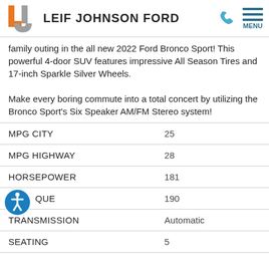LEIF JOHNSON FORD
family outing in the all new 2022 Ford Bronco Sport! This powerful 4-door SUV features impressive All Season Tires and 17-inch Sparkle Silver Wheels.

Make every boring commute into a total concert by utilizing the Bronco Sport's Six Speaker AM/FM Stereo system!
|  |  |
| --- | --- |
| MPG CITY | 25 |
| MPG HIGHWAY | 28 |
| HORSEPOWER | 181 |
| TORQUE | 190 |
| TRANSMISSION | Automatic |
| SEATING | 5 |